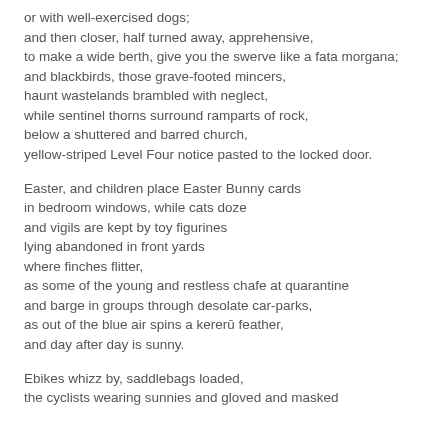or with well-exercised dogs;
and then closer, half turned away, apprehensive,
to make a wide berth, give you the swerve like a fata morgana;
and blackbirds, those grave-footed mincers,
haunt wastelands brambled with neglect,
while sentinel thorns surround ramparts of rock,
below a shuttered and barred church,
yellow-striped Level Four notice pasted to the locked door.
Easter, and children place Easter Bunny cards
in bedroom windows, while cats doze
and vigils are kept by toy figurines
lying abandoned in front yards
where finches flitter,
as some of the young and restless chafe at quarantine
and barge in groups through desolate car-parks,
as out of the blue air spins a kererū feather,
and day after day is sunny.
Ebikes whizz by, saddlebags loaded,
the cyclists wearing sunnies and gloved and masked